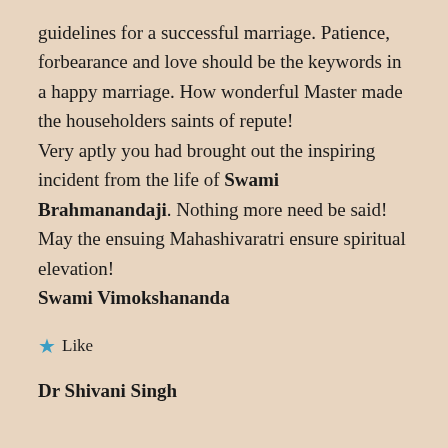guidelines for a successful marriage. Patience, forbearance and love should be the keywords in a happy marriage. How wonderful Master made the householders saints of repute! Very aptly you had brought out the inspiring incident from the life of Swami Brahmanandaji. Nothing more need be said! May the ensuing Mahashivaratri ensure spiritual elevation! Swami Vimokshananda
Like
Dr Shivani Singh